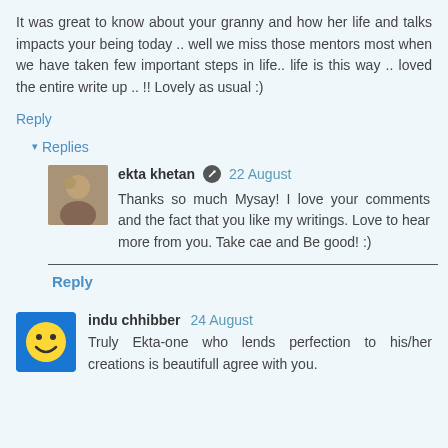It was great to know about your granny and how her life and talks impacts your being today .. well we miss those mentors most when we have taken few important steps in life.. life is this way .. loved the entire write up .. !! Lovely as usual :)
Reply
▾ Replies
ekta khetan 22 August
Thanks so much Mysay! I love your comments and the fact that you like my writings. Love to hear more from you. Take cae and Be good! :)
Reply
indu chhibber 24 August
Truly Ekta-one who lends perfection to his/her creations is beautifull agree with you.